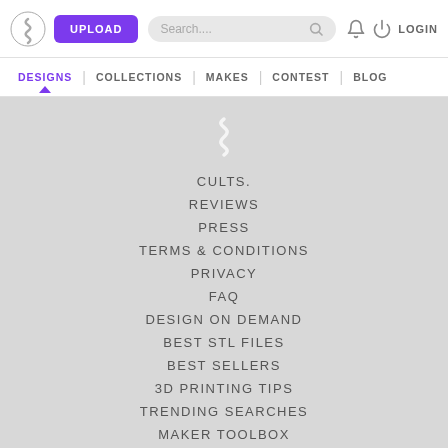UPLOAD | Search... | LOGIN
DESIGNS | COLLECTIONS | MAKES | CONTEST | BLOG
CULTS.
REVIEWS
PRESS
TERMS & CONDITIONS
PRIVACY
FAQ
DESIGN ON DEMAND
BEST STL FILES
BEST SELLERS
3D PRINTING TIPS
TRENDING SEARCHES
MAKER TOOLBOX
COLLECTIONS
CONTEST
BEST 3D DESIGNERS